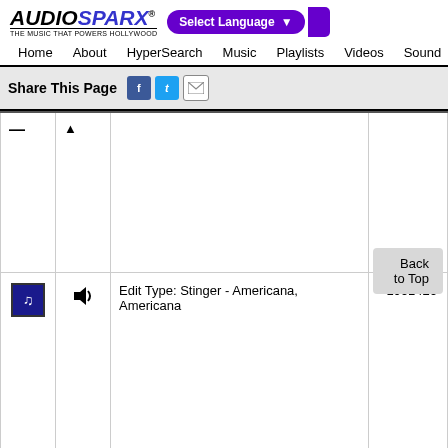AUDIOSPARX - THE MUSIC THAT POWERS HOLLYWOOD | Select Language | Search
Home | About | HyperSearch | Music | Playlists | Videos | Sound
Share This Page
|  |  | Info | ID |
| --- | --- | --- | --- |
|  |  |  |  |
| music icon | speaker icon | Edit Type: Stinger - Americana, Americana | 1061426 |
Back to Top